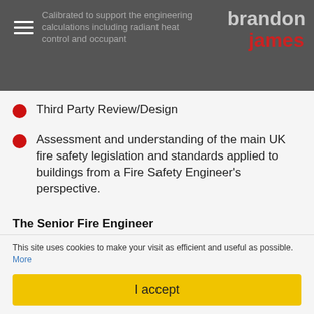brandon james — header navigation with logo
Third Party Review/Design
Assessment and understanding of the main UK fire safety legislation and standards applied to buildings from a Fire Safety Engineer's perspective.
The Senior Fire Engineer
A creatively geared person who can
This site uses cookies to make your visit as efficient and useful as possible. More
I accept